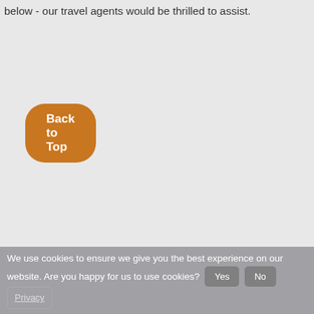below - our travel agents would be thrilled to assist.
Back to Top
We use cookies to ensure we give you the best experience on our website. Are you happy for us to use cookies? Yes No Privacy